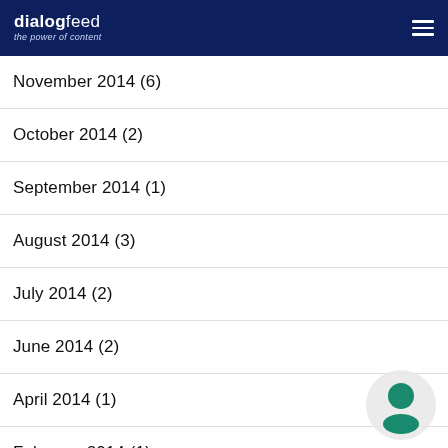dialogfeed – the power of content
November 2014 (6)
October 2014 (2)
September 2014 (1)
August 2014 (3)
July 2014 (2)
June 2014 (2)
April 2014 (1)
February 2014 (1)
[Figure (illustration): Green user/person silhouette icon in a light grey circle, bottom right corner]